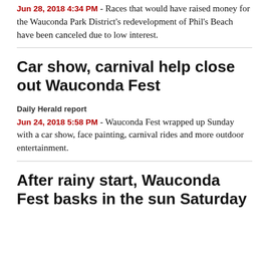Jun 28, 2018 4:34 PM - Races that would have raised money for the Wauconda Park District's redevelopment of Phil's Beach have been canceled due to low interest.
Car show, carnival help close out Wauconda Fest
Daily Herald report
Jun 24, 2018 5:58 PM - Wauconda Fest wrapped up Sunday with a car show, face painting, carnival rides and more outdoor entertainment.
After rainy start, Wauconda Fest basks in the sun Saturday